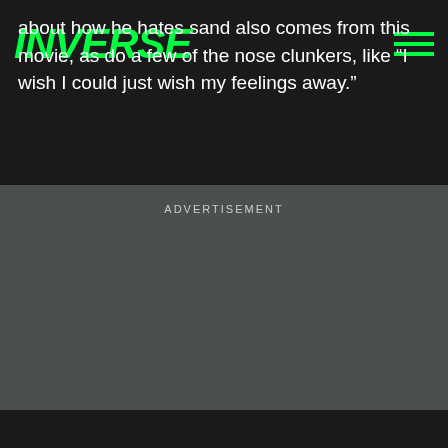INVERSE
about how he hates sand also comes from this movie, as do a few of the nose clunkers, like “I wish I could just wish my feelings away.”
ADVERTISEMENT